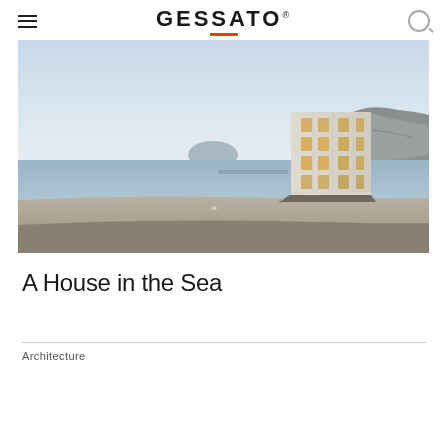GESSATO
[Figure (photo): A tall white stone or concrete residential building with warm-lit wooden windows stands on a rocky beach at dusk. The sea and a small island are visible in the background. Sandy beach in the foreground.]
A House in the Sea
Architecture